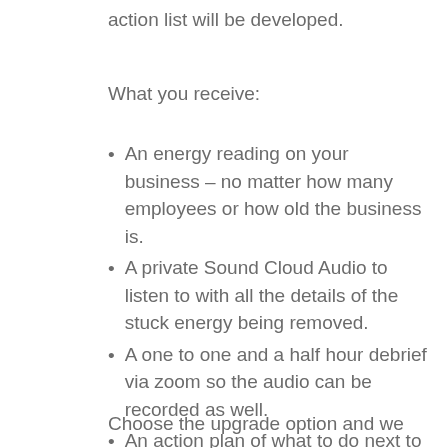action list will be developed.
What you receive:
An energy reading on your business – no matter how many employees or how old the business is.
A private Sound Cloud Audio to listen to with all the details of the stuck energy being removed.
A one to one and a half hour debrief via zoom so the audio can be recorded as well.
An action plan of what to do next to implement change and reap the rewards of the new energy.
Choose the upgrade option and we can